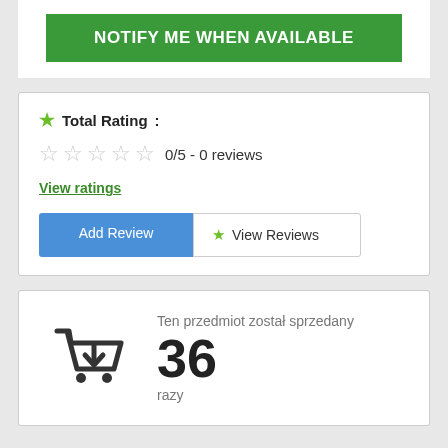NOTIFY ME WHEN AVAILABLE
Total Rating:
0/5 - 0 reviews
View ratings
Add Review
View Reviews
Ten przedmiot został sprzedany 36 razy